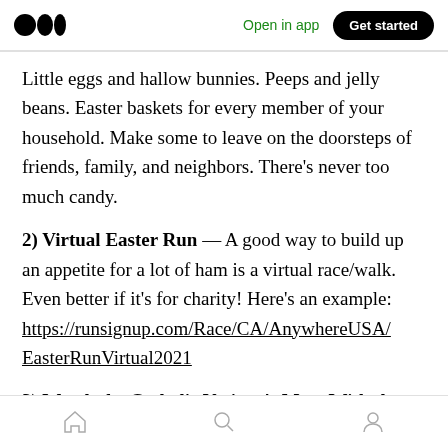Open in app | Get started
Little eggs and hallow bunnies. Peeps and jelly beans. Easter baskets for every member of your household. Make some to leave on the doorsteps of friends, family, and neighbors. There's never too much candy.
2) Virtual Easter Run — A good way to build up an appetite for a lot of ham is a virtual race/walk. Even better if it's for charity! Here's an example: https://runsignup.com/Race/CA/AnywhereUSA/EasterRunVirtual2021
3) Watch the Catholic Vatican's Mass With the